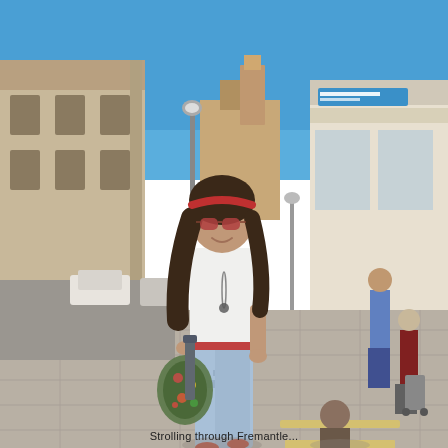[Figure (photo): A young woman with long dark hair, wearing sunglasses and a red headband, a white sleeveless top, ripped light blue jeans, and a red belt, carrying a floral tote bag, walking on a pedestrian street (mall) in what appears to be an Australian town. Behind her is a wooden bench with a person sitting on it. On the left are heritage limestone/sandstone buildings, and on the right are shops including a convenience store. Other pedestrians are visible in the background. Clear blue sky overhead.]
Strolling through Fremantle...